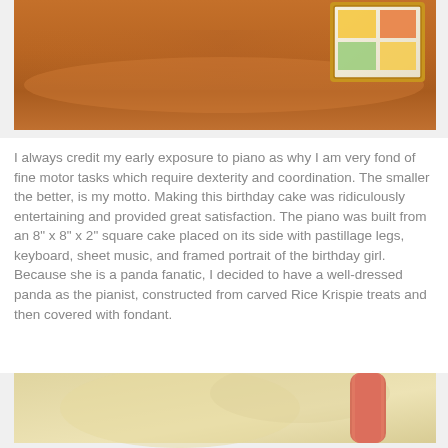[Figure (photo): Close-up photo of a brown leather surface with a small framed portrait visible in the upper right corner, showing a birthday cake piano decoration scene.]
I always credit my early exposure to piano as why I am very fond of fine motor tasks which require dexterity and coordination. The smaller the better, is my motto. Making this birthday cake was ridiculously entertaining and provided great satisfaction. The piano was built from an 8" x 8" x 2" square cake placed on its side with pastillage legs, keyboard, sheet music, and framed portrait of the birthday girl. Because she is a panda fanatic, I decided to have a well-dressed panda as the pianist, constructed from carved Rice Krispie treats and then covered with fondant.
[Figure (photo): Photo showing a pale yellow surface or fabric background with a pink/red cylindrical object visible on the right side, part of a birthday cake decoration setup.]